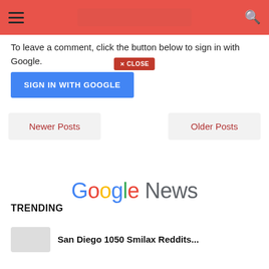Navigation bar with hamburger menu, search bar, and search icon
[Figure (screenshot): Red close button with X CLOSE label, overlapping the top navigation area]
To leave a comment, click the button below to sign in with Google.
SIGN IN WITH GOOGLE
Newer Posts
Older Posts
[Figure (logo): Google News logo with Google in multicolor and News in gray]
TRENDING
San Diego 1050 Smilax Reddits...